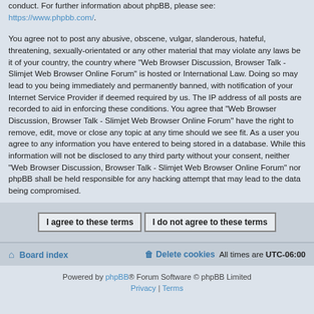conduct. For further information about phpBB, please see: https://www.phpbb.com/.
You agree not to post any abusive, obscene, vulgar, slanderous, hateful, threatening, sexually-orientated or any other material that may violate any laws be it of your country, the country where “Web Browser Discussion, Browser Talk - Slimjet Web Browser Online Forum” is hosted or International Law. Doing so may lead to you being immediately and permanently banned, with notification of your Internet Service Provider if deemed required by us. The IP address of all posts are recorded to aid in enforcing these conditions. You agree that “Web Browser Discussion, Browser Talk - Slimjet Web Browser Online Forum” have the right to remove, edit, move or close any topic at any time should we see fit. As a user you agree to any information you have entered to being stored in a database. While this information will not be disclosed to any third party without your consent, neither “Web Browser Discussion, Browser Talk - Slimjet Web Browser Online Forum” nor phpBB shall be held responsible for any hacking attempt that may lead to the data being compromised.
I agree to these terms | I do not agree to these terms
Board index | Delete cookies | All times are UTC-06:00
Powered by phpBB® Forum Software © phpBB Limited
Privacy | Terms